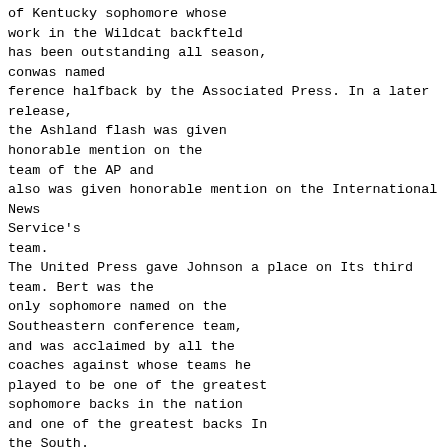of Kentucky sophomore whose work in the Wildcat backfteld has been outstanding all season, conwas named ference halfback by the Associated Press. In a later release, the Ashland flash was given honorable mention on the team of the AP and also was given honorable mention on the International News Service's team. The United Press gave Johnson a place on Its third team. Bert was the only sophomore named on the Southeastern conference team, and was acclaimed by all the coaches against whose teams he played to be one of the greatest sophomore backs in the nation and one of the greatest backs In the South. In Kentucky's 10 games, Johnson rolled up a total of 57 points to finish in the upper division of the scorers In the southland. Joe Rupert, Wildcat captain, was given honorable mention as end in the Associated Press's poll and was selected on the